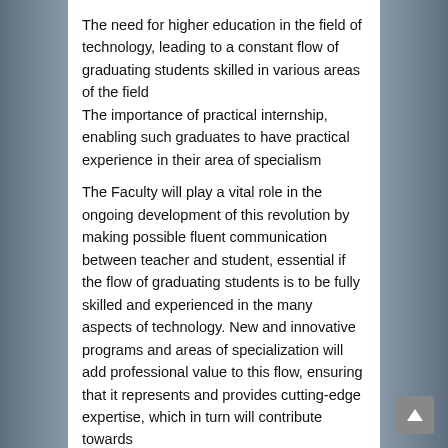The need for higher education in the field of technology, leading to a constant flow of graduating students skilled in various areas of the field
The importance of practical internship, enabling such graduates to have practical experience in their area of specialism
The Faculty will play a vital role in the ongoing development of this revolution by making possible fluent communication between teacher and student, essential if the flow of graduating students is to be fully skilled and experienced in the many aspects of technology. New and innovative programs and areas of specialization will add professional value to this flow, ensuring that it represents and provides cutting-edge expertise, which in turn will contribute towards the modernization of industry and further...